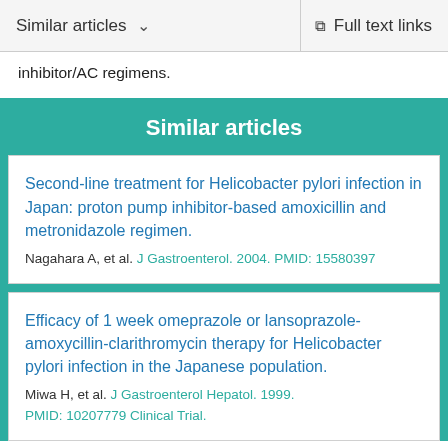Similar articles   ∨       Full text links
inhibitor/AC regimens.
Similar articles
Second-line treatment for Helicobacter pylori infection in Japan: proton pump inhibitor-based amoxicillin and metronidazole regimen.
Nagahara A, et al. J Gastroenterol. 2004. PMID: 15580397
Efficacy of 1 week omeprazole or lansoprazole-amoxycillin-clarithromycin therapy for Helicobacter pylori infection in the Japanese population.
Miwa H, et al. J Gastroenterol Hepatol. 1999. PMID: 10207779 Clinical Trial.